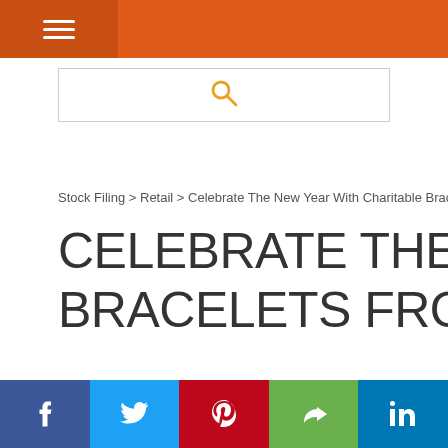Navigation bar with hamburger menu
[Figure (screenshot): Search bar with orange magnifying glass icon]
Stock Filing > Retail > Celebrate The New Year With Charitable Bracelets
CELEBRATE THE NEW YEAR WITH CHARITABLE BRACELETS FROM CHAVEZ FO
Social share buttons: Facebook, Twitter, Pinterest, Share, LinkedIn